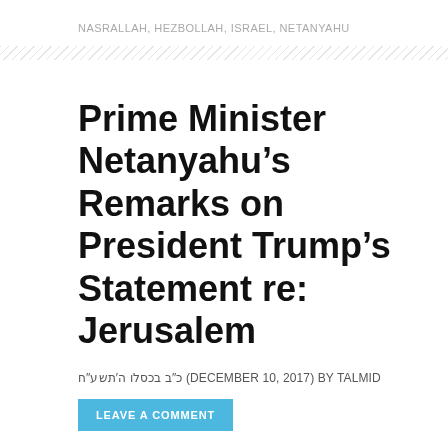NASRALLAH, HEZBOLLAH, ISRAEL, NETANYAHU
Prime Minister Netanyahu’s Remarks on President Trump’s Statement re: Jerusalem
כ״ב בכסלו ה״תשע״ח (DECEMBER 10, 2017) BY TALMID
LEAVE A COMMENT